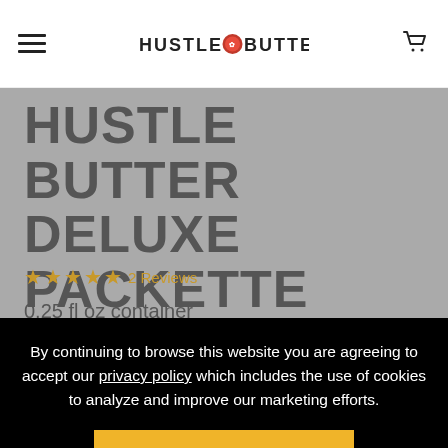HUSTLE BUTTER (logo nav bar with hamburger menu and cart icon)
HUSTLE BUTTER DELUXE PACKETTE
★★★★★ 2 Reviews
0.25 fl oz container
$89.99
By continuing to browse this website you are agreeing to accept our privacy policy which includes the use of cookies to analyze and improve our marketing efforts.
ACCEPT
DECLINE